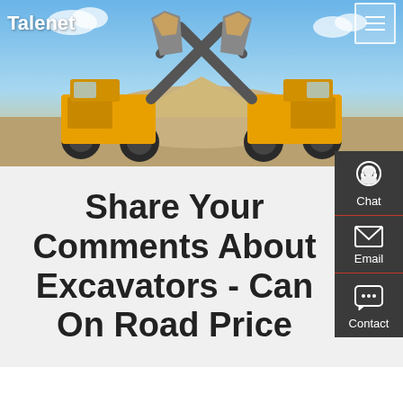Talenet
[Figure (photo): Hero image showing two large yellow wheel loaders/excavators facing each other with raised buckets full of dirt, set against a blue sky with mountains in the background at a construction/mining site.]
Share Your Comments About Excavators - Can On Road Price
[Figure (infographic): Side contact panel with three icons and labels: Chat (headset icon), Email (envelope icon), Contact (speech bubble icon), on a dark grey background with red dividers.]